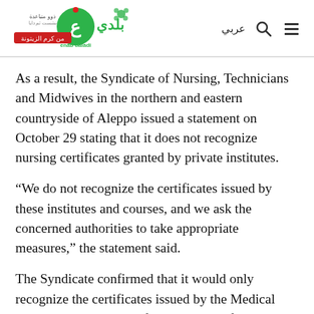Enab Baladi logo with Arabic text and navigation icons
As a result, the Syndicate of Nursing, Technicians and Midwives in the northern and eastern countryside of Aleppo issued a statement on October 29 stating that it does not recognize nursing certificates granted by private institutes.
“We do not recognize the certificates issued by these institutes and courses, and we ask the concerned authorities to take appropriate measures,” the statement said.
The Syndicate confirmed that it would only recognize the certificates issued by the Medical Technology Institutes of the Ministry of Education and the Healthcare Services of the Ministry of Health...